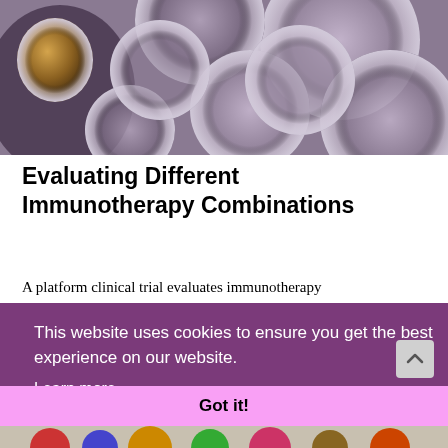[Figure (photo): Close-up photo of multiple laboratory test tubes/vials with purple-tinted caps viewed from above, with a yellow-capped vial on the left side.]
Evaluating Different Immunotherapy Combinations
A platform clinical trial evaluates immunotherapy
ced
This website uses cookies to ensure you get the best experience on our website.
Learn more
Got it!
[Figure (photo): Partial view of colorful pills/tablets at the bottom of the page.]